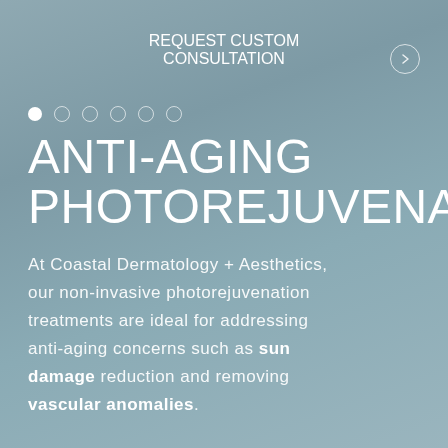REQUEST CUSTOM CONSULTATION
[Figure (other): Navigation arrow button (right chevron) in circular outline]
[Figure (other): Dot pagination indicator row: one filled white dot followed by five empty circle dots]
ANTI-AGING PHOTOREJUVENATION
At Coastal Dermatology + Aesthetics, our non-invasive photorejuvenation treatments are ideal for addressing anti-aging concerns such as sun damage reduction and removing vascular anomalies.